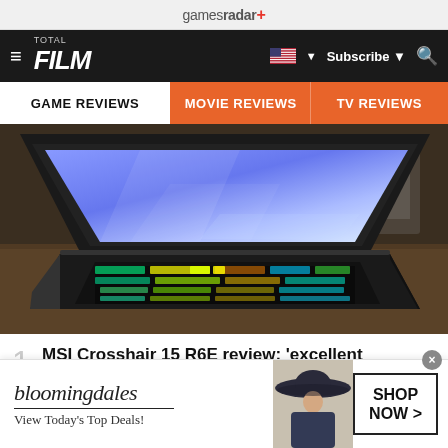gamesradar+
FILM | Subscribe | Search
GAME REVIEWS | MOVIE REVIEWS | TV REVIEWS
[Figure (photo): MSI Crosshair 15 R6E gaming laptop with RGB keyboard open at an angle on a wooden surface]
1 MSI Crosshair 15 R6E review: 'excellent performance in an outdated chassis'
[Figure (other): Bloomingdale's advertisement: View Today's Top Deals! with woman in hat and SHOP NOW button]